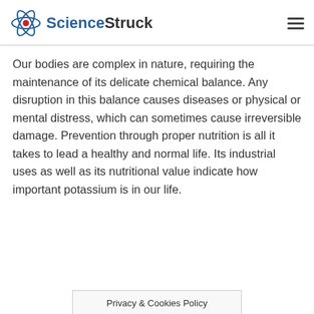ScienceStruck
Our bodies are complex in nature, requiring the maintenance of its delicate chemical balance. Any disruption in this balance causes diseases or physical or mental distress, which can sometimes cause irreversible damage. Prevention through proper nutrition is all it takes to lead a healthy and normal life. Its industrial uses as well as its nutritional value indicate how important potassium is in our life.
Privacy & Cookies Policy